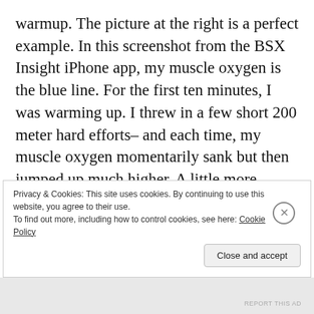warmup. The picture at the right is a perfect example. In this screenshot from the BSX Insight iPhone app, my muscle oxygen is the blue line. For the first ten minutes, I was warming up. I threw in a few short 200 meter hard efforts– and each time, my muscle oxygen momentarily sank but then jumped up much higher. A little more jogging and I would repeat this until my muscle oxygen was around the mid-80's– a that point, I knew I was primed and ready to go.
Privacy & Cookies: This site uses cookies. By continuing to use this website, you agree to their use. To find out more, including how to control cookies, see here: Cookie Policy